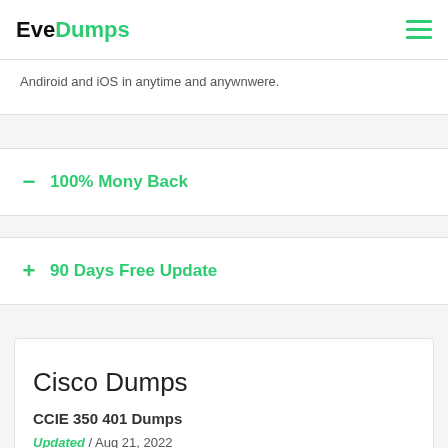EveDumps
Andiroid and iOS in anytime and anywhere.
100% Mony Back
90 Days Free Update
Cisco Dumps
CCIE 350 401 Dumps
Updated / Aug 21, 2022